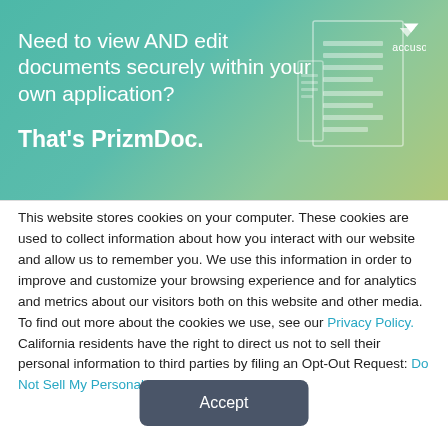[Figure (illustration): Accusoft PrizmDoc advertisement banner with teal-to-green gradient background, Accusoft logo top right, document outline illustration on right side, and text: 'Need to view AND edit documents securely within your own application? That's PrizmDoc.']
This website stores cookies on your computer. These cookies are used to collect information about how you interact with our website and allow us to remember you. We use this information in order to improve and customize your browsing experience and for analytics and metrics about our visitors both on this website and other media. To find out more about the cookies we use, see our Privacy Policy. California residents have the right to direct us not to sell their personal information to third parties by filing an Opt-Out Request: Do Not Sell My Personal Info.
Accept